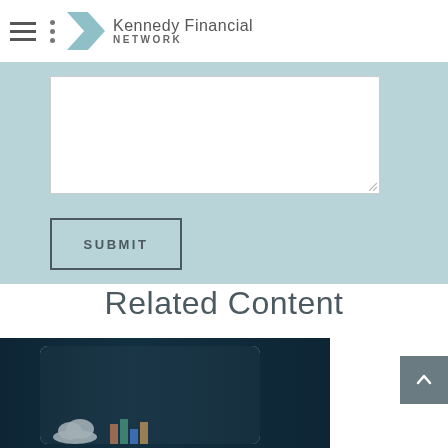Kennedy Financial Network
[Figure (screenshot): Form area with textarea input and light teal background, showing a submit button with border]
SUBMIT
Related Content
[Figure (photo): Photo of a tablet/iPad displaying cloud icons and colorful charts on a dark background]